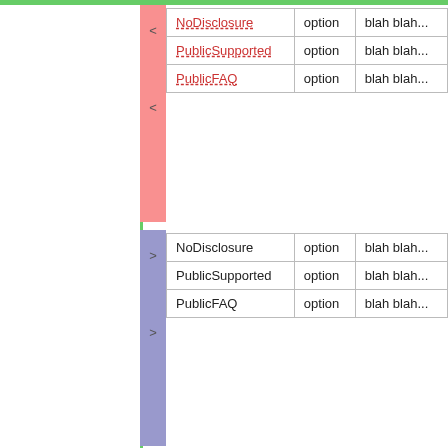[Figure (other): Red diff marker block with < symbols]
| NoDisclosure | option | blah blah... |
| PublicSupported | option | blah blah... |
| PublicFAQ | option | blah blah... |
[Figure (other): Blue diff marker block with > symbols]
| NoDisclosure | option | blah blah... |
| PublicSupported | option | blah blah... |
| PublicFAQ | option | blah blah... |
Implementation Notes: This format allows you to defi... depending on your needs.
Line: 106 to 102
Additionally a new topic can be given a Form using the... Initial values can then be provided in the URLs or as fo...
other than checkboxes: name, ex: ?BugPriority=
Changed:
checkbox: namevalue=1, ex: ?ColourRed=1.